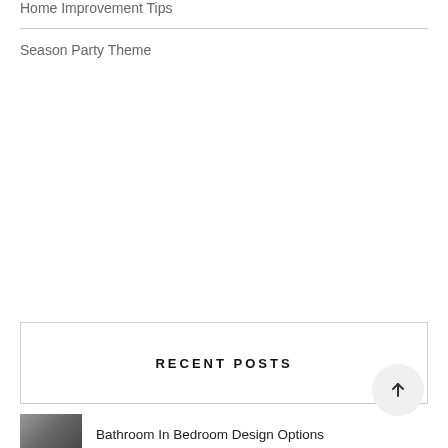Home Improvement Tips
Season Party Theme
RECENT POSTS
Bathroom In Bedroom Design Options